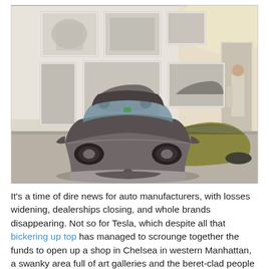[Figure (photo): Interior of a gallery-style Tesla showroom in Chelsea, Manhattan. A dark gray Tesla Roadster is in the foreground facing the camera. Behind it is a green/gold Lotus-based car. Black-and-white photographs of vintage cars hang on the white gallery walls on the left. A person stands near a doorway on the right.]
It's a time of dire news for auto manufacturers, with losses widening, dealerships closing, and whole brands disappearing. Not so for Tesla, which despite all that bickering up top has managed to scrounge together the funds to open up a shop in Chelsea in western Manhattan, a swanky area full of art galleries and the beret-clad people